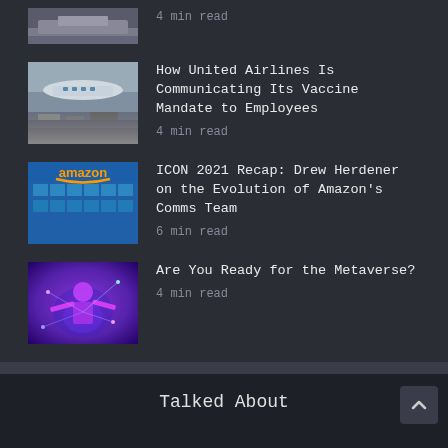[Figure (photo): Partial view of an airplane on a tarmac, bottom portion visible]
4 min read
[Figure (photo): United Airlines airplane at an airport gate with ground vehicles]
How United Airlines Is Communicating Its Vaccine Mandate to Employees
4 min read
[Figure (photo): Amazon building with Amazon logo sign against blue sky]
ICON 2021 Recap: Drew Herdener on the Evolution of Amazon's Comms Team
6 min read
[Figure (photo): Colorful metaverse/VR themed image with a person in glowing purple and blue digital environment]
Are You Ready for the Metaverse?
4 min read
Talked About